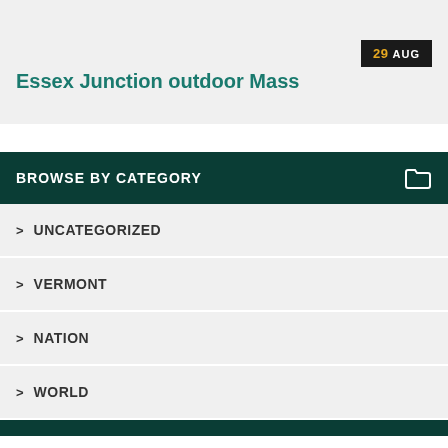Essex Junction outdoor Mass
BROWSE BY CATEGORY
UNCATEGORIZED
VERMONT
NATION
WORLD